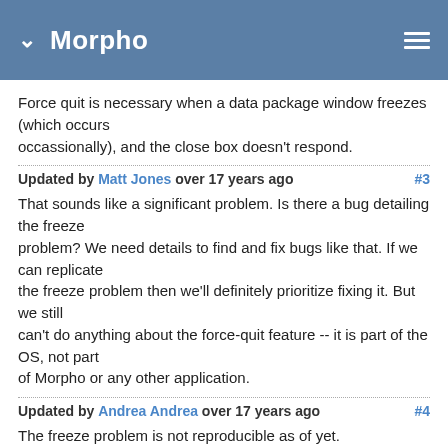Morpho
Force quit is necessary when a data package window freezes (which occurs occassionally), and the close box doesn't respond.
Updated by Matt Jones over 17 years ago #3
That sounds like a significant problem. Is there a bug detailing the freeze problem? We need details to find and fix bugs like that. If we can replicate the freeze problem then we'll definitely prioritize fixing it. But we still can't do anything about the force-quit feature -- it is part of the OS, not part of Morpho or any other application.
Updated by Andrea Andrea over 17 years ago #4
The freeze problem is not reproducible as of yet.
Updated by ben leinfelder about 12 years ago #5
no force quit for individual windows - and the freezing is non-specific in this (old) bug report.